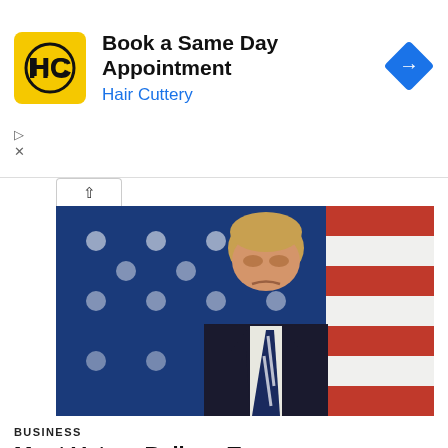[Figure (infographic): Advertisement banner for Hair Cuttery: yellow square logo with HC text, ad title 'Book a Same Day Appointment', subtitle 'Hair Cuttery' in blue, blue diamond navigation icon on right, play and close controls on lower left]
[Figure (photo): Photograph of Donald Trump in a dark suit and striped tie, standing in front of an American flag with blue field and white stars visible]
BUSINESS
Most Voters Believe Trump Investigations Should Go On, Poll Finds